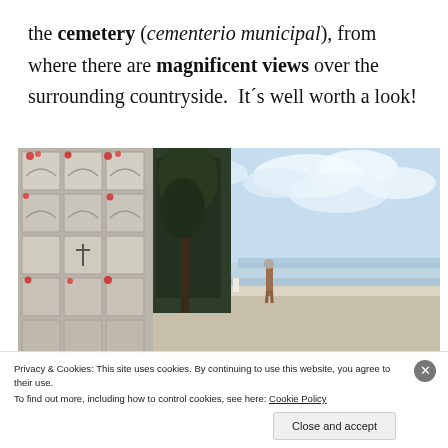the cemetery (cementerio municipal), from where there are magnificent views over the surrounding countryside.  It´s well worth a look!
[Figure (photo): Photograph of a Spanish municipal cemetery (cementerio municipal) showing multi-tiered burial wall niches on the left adorned with flowers, dark vegetation and a small chapel structure in the center, and a person standing on a white terrace wall on the right overlooking a panoramic view of countryside and sky.]
Privacy & Cookies: This site uses cookies. By continuing to use this website, you agree to their use.
To find out more, including how to control cookies, see here: Cookie Policy
Close and accept